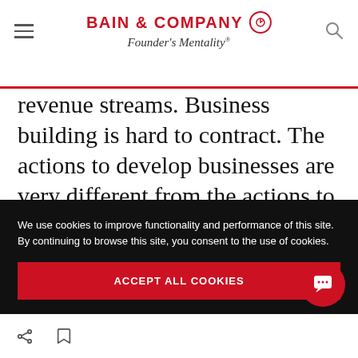BAIN & COMPANY Founder's Mentality®
revenue streams. Business building is hard to contract. The actions to develop businesses are very different from the actions to deliver businesses. The strategic planning and budgeting processes must be different, too. You absolutely need development capabilities in Engine 1, because you have to manage the
We use cookies to improve functionality and performance of this site. By continuing to browse this site, you consent to the use of cookies.
ACCEPT ALL COOKIES